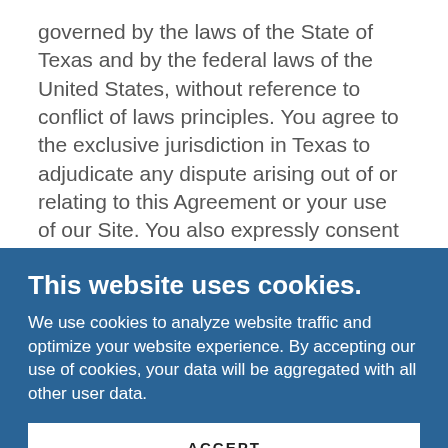governed by the laws of the State of Texas and by the federal laws of the United States, without reference to conflict of laws principles. You agree to the exclusive jurisdiction in Texas to adjudicate any dispute arising out of or relating to this Agreement or your use of our Site. You also expressly consent to personal jurisdiction in the state of Texas for any such claims.
This website uses cookies.
We use cookies to analyze website traffic and optimize your website experience. By accepting our use of cookies, your data will be aggregated with all other user data.
ACCEPT